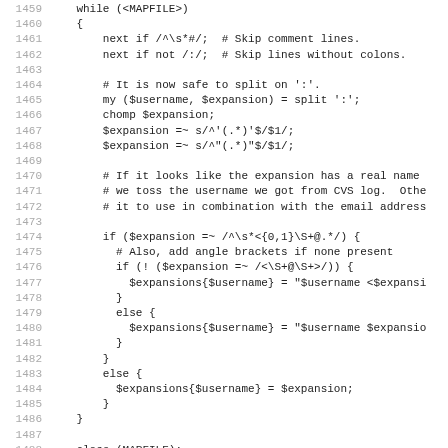Code listing lines 1459-1490, Perl source code for reading a MAPFILE and processing username/expansion pairs